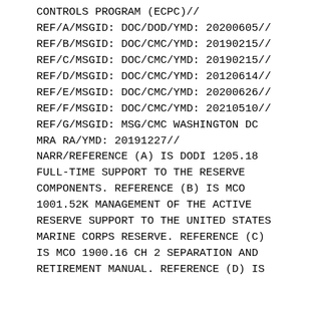CONTROLS PROGRAM (ECPC)//
REF/A/MSGID: DOC/DOD/YMD: 20200605//
REF/B/MSGID: DOC/CMC/YMD: 20190215//
REF/C/MSGID: DOC/CMC/YMD: 20190215//
REF/D/MSGID: DOC/CMC/YMD: 20120614//
REF/E/MSGID: DOC/CMC/YMD: 20200626//
REF/F/MSGID: DOC/CMC/YMD: 20210510//
REF/G/MSGID: MSG/CMC WASHINGTON DC MRA RA/YMD: 20191227//
NARR/REFERENCE (A) IS DODI 1205.18 FULL-TIME SUPPORT TO THE RESERVE COMPONENTS. REFERENCE (B) IS MCO 1001.52K MANAGEMENT OF THE ACTIVE RESERVE SUPPORT TO THE UNITED STATES MARINE CORPS RESERVE. REFERENCE (C) IS MCO 1900.16 CH 2 SEPARATION AND RETIREMENT MANUAL. REFERENCE (D) IS